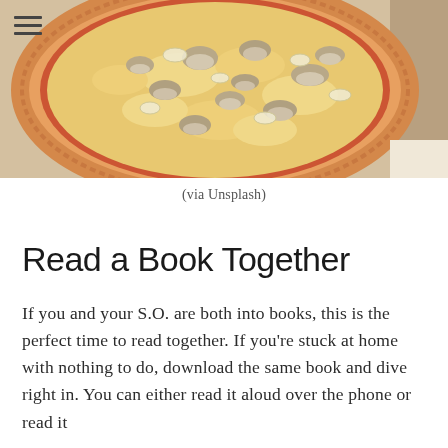[Figure (photo): Overhead photo of a mushroom and onion pizza in a cardboard delivery box]
(via Unsplash)
Read a Book Together
If you and your S.O. are both into books, this is the perfect time to read together. If you're stuck at home with nothing to do, download the same book and dive right in. You can either read it aloud over the phone or read it